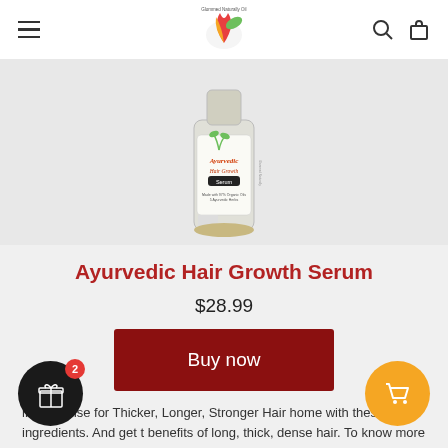Glommed Naturally Oil — navigation header with logo, hamburger menu, search and cart icons
[Figure (photo): Product bottle of Ayurvedic Hair Growth Serum on a light grey background]
Ayurvedic Hair Growth Serum
$28.99
Buy now
ir Tea Rinse for Thicker, Longer, Stronger Hair home with these home ingredients. And get t benefits of long, thick, dense hair. To know more about almond